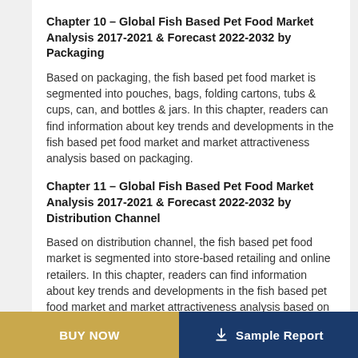Chapter 10 – Global Fish Based Pet Food Market Analysis 2017-2021 & Forecast 2022-2032 by Packaging
Based on packaging, the fish based pet food market is segmented into pouches, bags, folding cartons, tubs & cups, can, and bottles & jars. In this chapter, readers can find information about key trends and developments in the fish based pet food market and market attractiveness analysis based on packaging.
Chapter 11 – Global Fish Based Pet Food Market Analysis 2017-2021 & Forecast 2022-2032 by Distribution Channel
Based on distribution channel, the fish based pet food market is segmented into store-based retailing and online retailers. In this chapter, readers can find information about key trends and developments in the fish based pet food market and market attractiveness analysis based on distribution channel.
BUY NOW   Sample Report